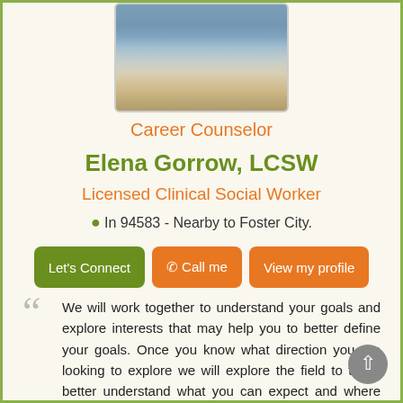[Figure (photo): Profile photo showing a landscape/seascape with water and horizon]
Career Counselor
Elena Gorrow, LCSW
Licensed Clinical Social Worker
In 94583 - Nearby to Foster City.
Let's Connect | Call me | View my profile
We will work together to understand your goals and explore interests that may help you to better define your goals. Once you know what direction you are looking to explore we will explore the field to try to better understand what you can expect and where the